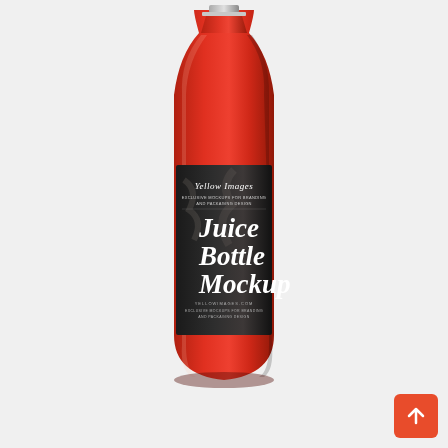[Figure (illustration): A glass juice bottle filled with red/orange liquid (tomato or fruit juice), with a dark charcoal/black label featuring 'Yellow Images' branding at the top and 'Juice Bottle Mockup' in large white serif italic text. The label also reads 'EXCLUSIVE MOCKUPS FOR BRANDING AND PACKAGING DESIGN' and 'YELLOWIMAGES.COM'. The bottle has a silver cap and sits on a light gray background.]
[Figure (other): A red/orange square back-to-top arrow button in the bottom-right corner of the page.]